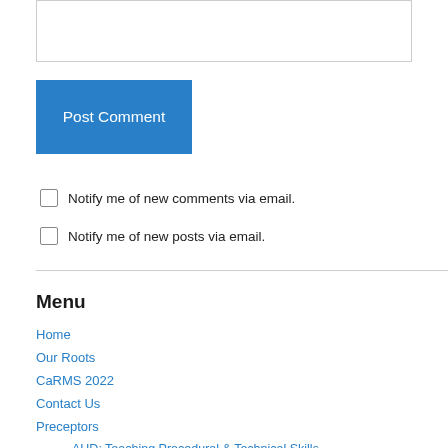[Figure (other): Text input/comment box (empty)]
Post Comment
Notify me of new comments via email.
Notify me of new posts via email.
Menu
Home
Our Roots
CaRMS 2022
Contact Us
Preceptors
AHD: Teaching Procedural & Technical Skills
Academic Half Day: Preparation
Resident Resources